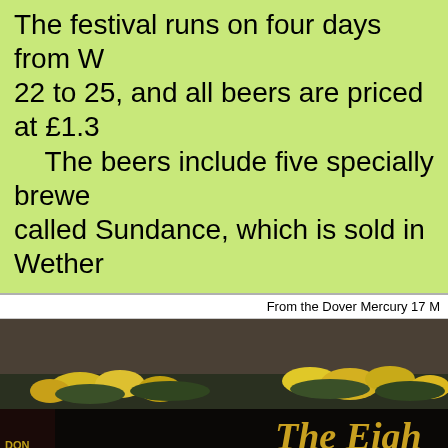The festival runs on four days from W 22 to 25, and all beers are priced at £1.3 The beers include five specially brewe called Sundance, which is sold in Wether
From the Dover Mercury 17 M
[Figure (photo): A man wearing glasses and a black turtleneck stands in front of a pub called 'The Eight' (name partially visible). A 'FREEHOUSE' sign is visible on the left. The pub has decorative flowers above the entrance. The man is holding what appears to be a document or poster.]